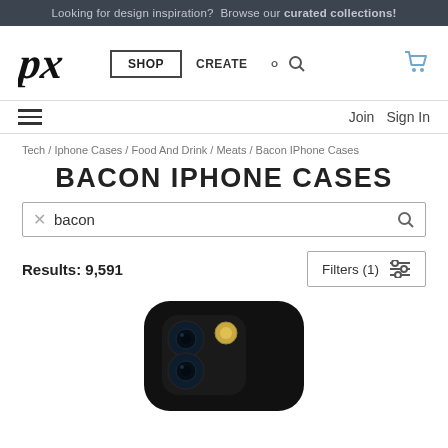Looking for design inspiration? Browse our curated collections!
[Figure (logo): Pixels (px) logo in italic black script font]
SHOP  CREATE
Join  Sign In
Tech / Iphone Cases / Food And Drink / Meats / Bacon IPhone Cases
BACON IPHONE CASES
bacon
Results: 9,591
Filters (1)
[Figure (photo): iPhone 13 phone product photo showing the rear camera module with dual cameras and flash on a black body, cropped to show top portion]